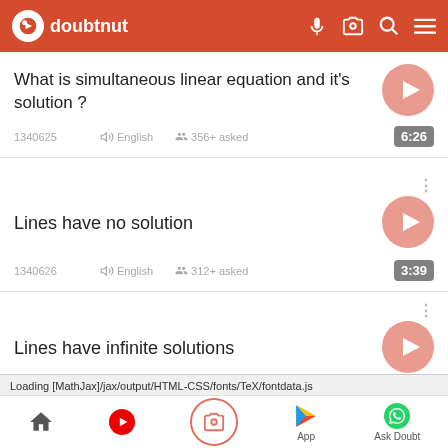[Figure (screenshot): Doubtnut app header with logo and icons]
What is simultaneous linear equation and it's solution ?
1340625   English   356+ asked   6:26
Lines have no solution
1340626   English   312+ asked   3:39
Lines have infinite solutions
1340627   English   284+ asked   5:20
Loading [MathJax]/jax/output/HTML-CSS/fonts/TeX/fontdata.js